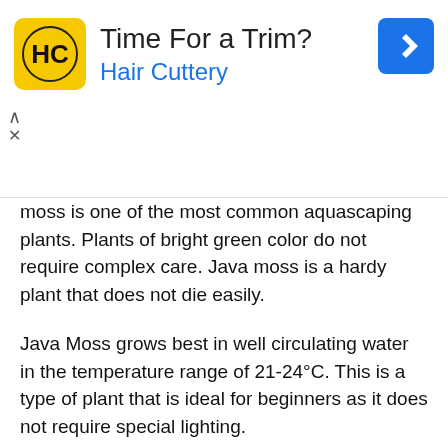[Figure (other): Advertisement banner for Hair Cuttery with logo, title 'Time For a Trim?', subtitle 'Hair Cuttery', navigation arrow icon, chevron and close controls]
moss is one of the most common aquascaping plants. Plants of bright green color do not require complex care. Java moss is a hardy plant that does not die easily.
Java Moss grows best in well circulating water in the temperature range of 21-24°C. This is a type of plant that is ideal for beginners as it does not require special lighting.
2. Liliopsis, a beautiful aquarium foreground carpet
Lilaeopsis brasiliensis is similar to a ground grass. This is a type of plant that is very suitable for aquarium mats and foregrounds. Liliopsis is a suitable plant for